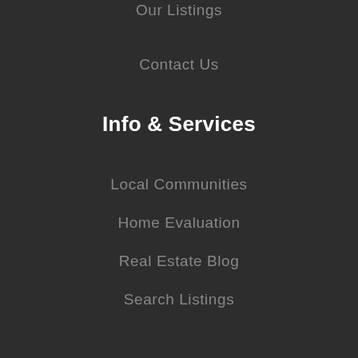Our Listings
Contact Us
Info & Services
Local Communities
Home Evaluation
Real Estate Blog
Search Listings
Follow Us
[Figure (logo): Facebook logo icon in a circle, gray color]